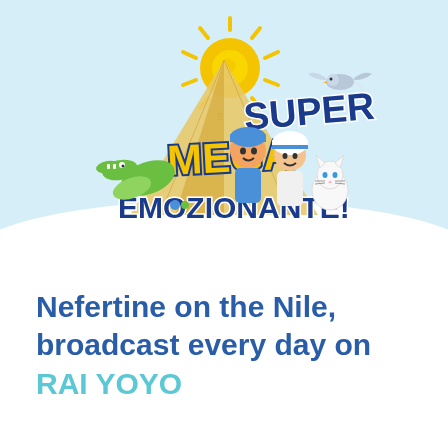[Figure (illustration): Cartoon illustration logo for 'Super Mega Emozionante!' featuring animated characters from 'Nefertine on the Nile': a green crocodile, two child characters dressed in Egyptian clothing, a white cat, and a flying bird, set against an Egyptian pyramid background with a bright yellow sun. The text 'SUPER MEGA EMOZIONANTE!' appears in large bold yellow and blue letters.]
Nefertine on the Nile, broadcast every day on RAI YOYO